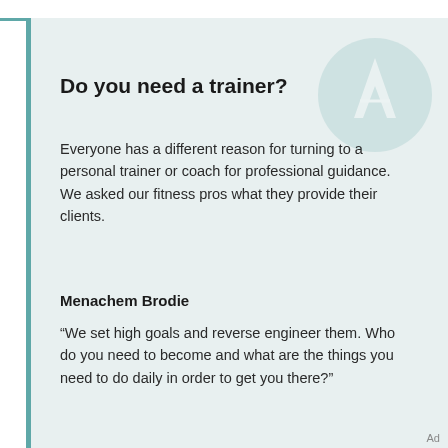Do you need a trainer?
Everyone has a different reason for turning to a personal trainer or coach for professional guidance. We asked our fitness pros what they provide their clients.
Menachem Brodie
“We set high goals and reverse engineer them. Who do you need to become and what are the things you need to do daily in order to get you there?”
Ad